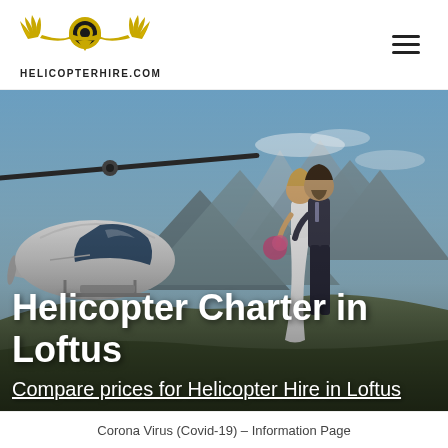[Figure (logo): HelicopterHire.com logo with golden wings and circular badge, text HELICOPTERHIRE.COM below]
[Figure (photo): Hero image showing a helicopter on a mountain landscape with a couple (bride and groom) standing next to it, mountains and blue sky in background]
Helicopter Charter in Loftus
Compare prices for Helicopter Hire in Loftus
Corona Virus (Covid-19) – Information Page